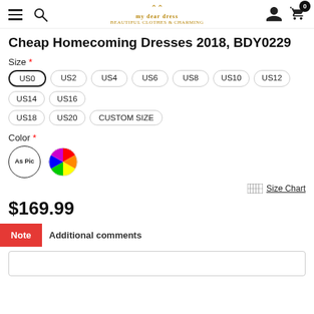Navigation bar with hamburger menu, search, logo, user account, and cart (0 items)
Cheap Homecoming Dresses 2018, BDY0229
Size *
US0, US2, US4, US6, US8, US10, US12, US14, US16, US18, US20, CUSTOM SIZE
Color *
[Figure (other): Color selector circle with rainbow/multicolor wheel and As Pic option]
Size Chart
$169.99
Note  Additional comments
Additional comments text input box